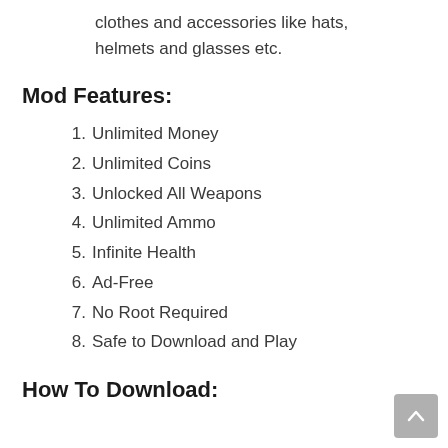clothes and accessories like hats, helmets and glasses etc.
Mod Features:
1. Unlimited Money
2. Unlimited Coins
3. Unlocked All Weapons
4. Unlimited Ammo
5. Infinite Health
6. Ad-Free
7. No Root Required
8. Safe to Download and Play
How To Download: